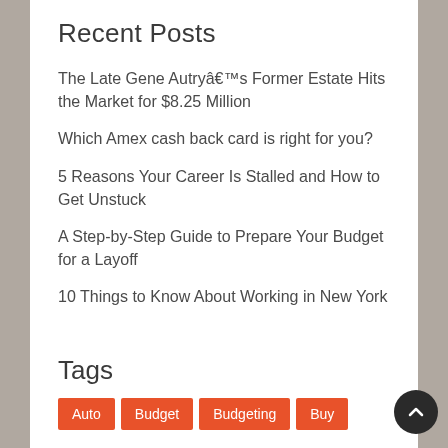Recent Posts
The Late Gene Autryâs Former Estate Hits the Market for $8.25 Million
Which Amex cash back card is right for you?
5 Reasons Your Career Is Stalled and How to Get Unstuck
A Step-by-Step Guide to Prepare Your Budget for a Layoff
10 Things to Know About Working in New York
Tags
Auto
Budget
Budgeting
Buy